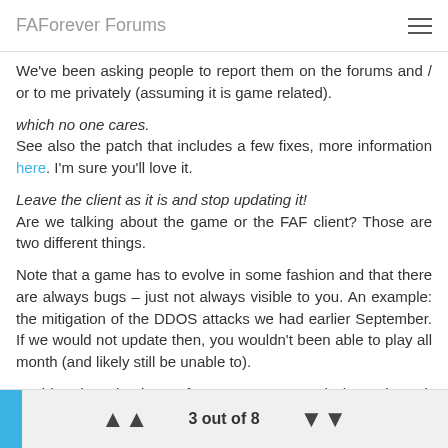FAForever Forums
We've been asking people to report them on the forums and / or to me privately (assuming it is game related).
which no one cares.
See also the patch that includes a few fixes, more information here. I'm sure you'll love it.
Leave the client as it is and stop updating it!
Are we talking about the game or the FAF client? Those are two different things.
Note that a game has to evolve in some fashion and that there are always bugs – just not always visible to you. An example: the mitigation of the DDOS attacks we had earlier September. If we would not update then, you wouldn't been able to play all month (and likely still be unable to).
Besides that, thank you for your support and please keep it coming 👍
3 out of 8